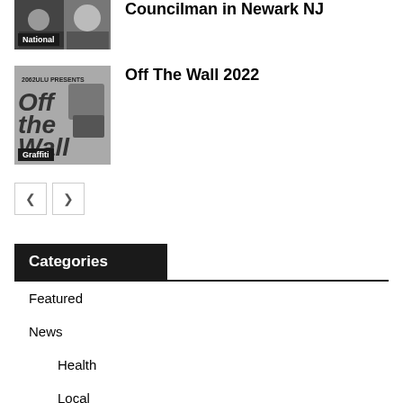[Figure (photo): Thumbnail image with National badge overlay - first article]
Councilman in Newark NJ
[Figure (photo): Graffiti event poster image with Graffiti badge overlay - Off The Wall 2022]
Off The Wall 2022
< >
Categories
Featured
News
Health
Local
National